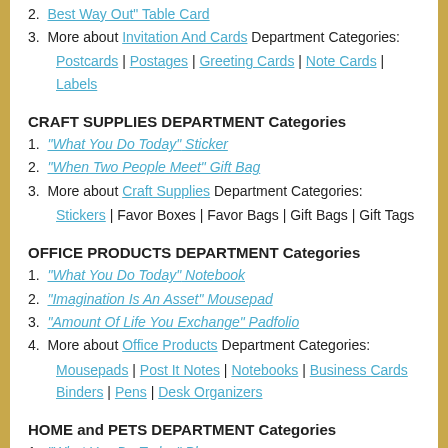2. Best Way Out Table Card
3. More about Invitation And Cards Department Categories:
Postcards | Postages | Greeting Cards | Note Cards | Labels
CRAFT SUPPLIES DEPARTMENT Categories
1. "What You Do Today" Sticker
2. "When Two People Meet" Gift Bag
3. More about Craft Supplies Department Categories:
Stickers | Favor Boxes | Favor Bags | Gift Bags | Gift Tags
OFFICE PRODUCTS DEPARTMENT Categories
1. "What You Do Today" Notebook
2. "Imagination Is An Asset" Mousepad
3. "Amount Of Life You Exchange" Padfolio
4. More about Office Products Department Categories:
Mousepads | Post It Notes | Notebooks | Business Cards Binders | Pens | Desk Organizers
HOME and PETS DEPARTMENT Categories
1. "What You Do Today" Plaque